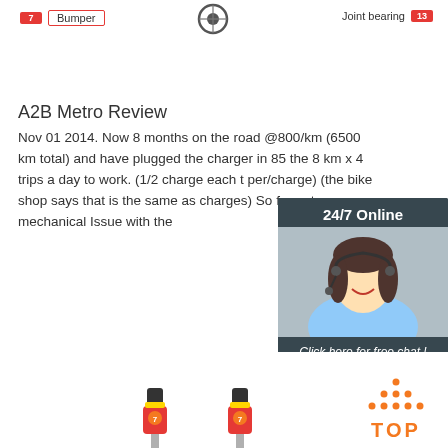[Figure (illustration): Top strip with labeled diagram parts: Bumper (label 7) on left, wheel icon in center, Joint bearing (label 13) on right]
A2B Metro Review
Nov 01 2014. Now 8 months on the road @800/km (6500 km total) and have plugged the charger in 85 the 8 km x 4 trips a day to work. (1/2 charge each t per/charge) (the bike shop says that is the same as charges) So far not one mechanical Issue with the
[Figure (photo): Customer service representative with headset, 24/7 Online chat widget with orange QUOTATION button]
[Figure (illustration): Orange Get Price button]
[Figure (illustration): Two red bicycle part components at bottom, and a TOP logo with orange dots in triangle formation]